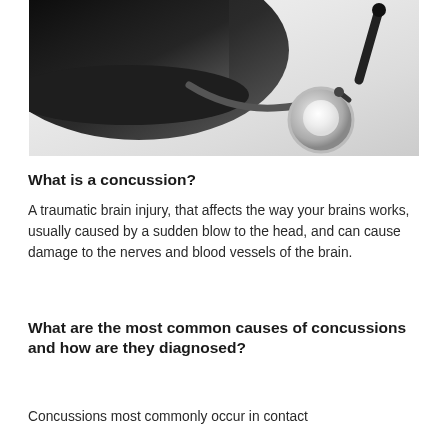[Figure (photo): A stethoscope resting on a white surface, with a dark cloth/bag visible in the upper left. The stethoscope head/disc is visible in the lower right portion of the image.]
What is a concussion?
A traumatic brain injury, that affects the way your brains works, usually caused by a sudden blow to the head, and can cause damage to the nerves and blood vessels of the brain.
What are the most common causes of concussions and how are they diagnosed?
Concussions most commonly occur in contact